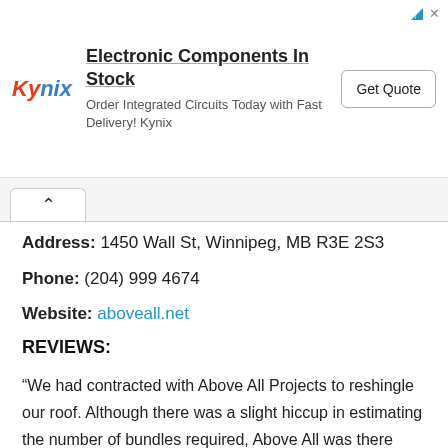[Figure (other): Kynix advertisement banner: logo 'Kynix' in red/blue italic, headline 'Electronic Components In Stock', subtext 'Order Integrated Circuits Today with Fast Delivery! Kynix', and a 'Get Quote' button.]
Address: 1450 Wall St, Winnipeg, MB R3E 2S3
Phone: (204) 999 4674
Website: aboveall.net
REVIEWS:
“We had contracted with Above All Projects to reshingle our roof. Although there was a slight hiccup in estimating the number of bundles required, Above All was there bright and early the next work day morning to complete the project. We could not have been more pleased with the end result. Right from the initial contact with Chris, and then Dan, to the work crew and accounts receivable everything was handled in a